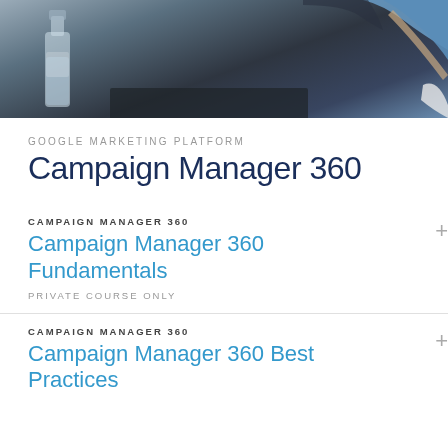[Figure (photo): Photo banner showing a person in a blue shirt with a glass bottle on a table, dark background]
GOOGLE MARKETING PLATFORM
Campaign Manager 360
CAMPAIGN MANAGER 360
Campaign Manager 360 Fundamentals
PRIVATE COURSE ONLY
CAMPAIGN MANAGER 360
Campaign Manager 360 Best Practices